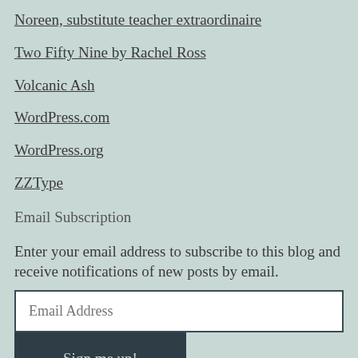Noreen, substitute teacher extraordinaire
Two Fifty Nine by Rachel Ross
Volcanic Ash
WordPress.com
WordPress.org
ZZType
Email Subscription
Enter your email address to subscribe to this blog and receive notifications of new posts by email.
Email Address
Sign me up!
Join 4,354 other follo…